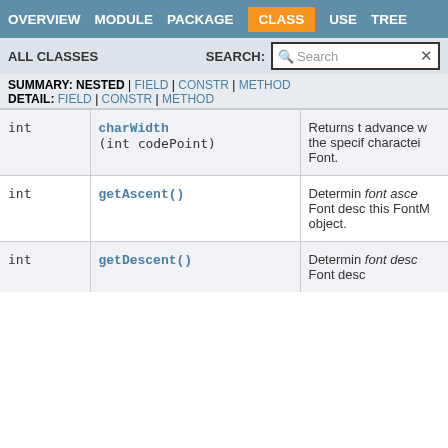OVERVIEW  MODULE  PACKAGE  CLASS  USE  TREE
ALL CLASSES   SEARCH:  [Search]
SUMMARY: NESTED | FIELD | CONSTR | METHOD
DETAIL: FIELD | CONSTR | METHOD
|  | Method | Description |
| --- | --- | --- |
| int | charWidth(int codePoint) | Returns the advance width of the specified character in this Font. |
| int | getAscent() | Determines the font ascent of the Font described by this FontMetrics object. |
| int | getDescent() | Determines the font descent of the Font desc... |